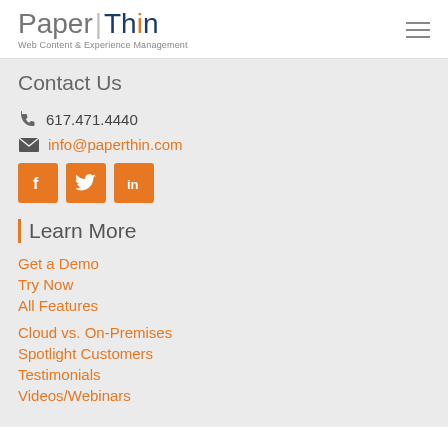Paper|Thin Web Content & Experience Management
Contact Us
617.471.4440
info@paperthin.com
[Figure (infographic): Social media buttons: Facebook, Twitter, LinkedIn — orange square icons]
Learn More
Get a Demo
Try Now
All Features
Cloud vs. On-Premises
Spotlight Customers
Testimonials
Videos/Webinars